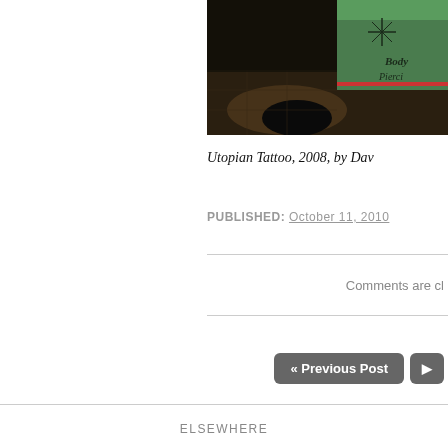[Figure (photo): Nighttime street scene with a green bus or vehicle showing 'Body Piercing' text, dark pavement with light reflections]
Utopian Tattoo, 2008, by Dav
PUBLISHED: October 11, 2010
Comments are cl
« Previous Post
ELSEWHERE